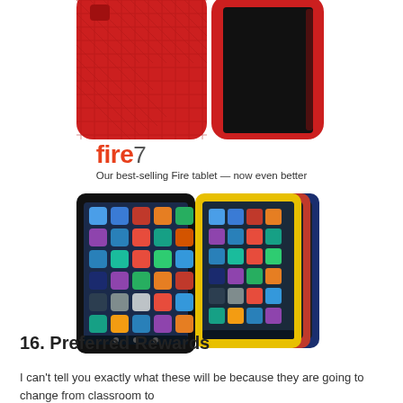[Figure (photo): Amazon Fire tablet red protective case shown from back and front angles, partially cropped at top of page]
fire 7
Our best-selling Fire tablet — now even better
[Figure (photo): Amazon Fire 7 tablets shown in multiple colors (black, yellow, red, blue) — one tablet facing front and several stacked behind it showing color variety]
16. Preferred Rewards
I can't tell you exactly what these will be because they are going to change from classroom to